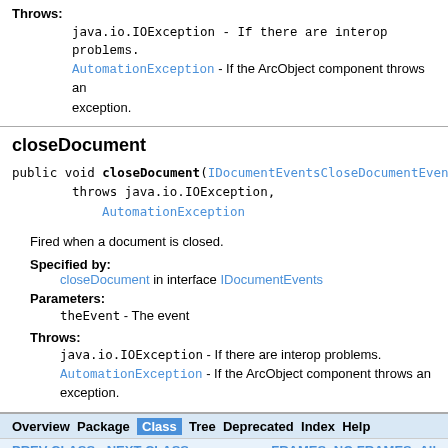Throws: java.io.IOException - If there are interop problems. AutomationException - If the ArcObject component throws an exception.
closeDocument
public void closeDocument(IDocumentEventsCloseDocumentEvent th
                    throws java.io.IOException,
                           AutomationException
Fired when a document is closed.
Specified by:
closeDocument in interface IDocumentEvents
Parameters:
theEvent - The event
Throws:
java.io.IOException - If there are interop problems.
AutomationException - If the ArcObject component throws an exception.
Overview Package Class Tree Deprecated Index Help | PREV CLASS NEXT CLASS | FRAMES NO FRAMES All Classes | SUMMARY: NESTED | FIELD | CONSTR | METHOD DETAIL: FIELD | CONSTR | METHOD